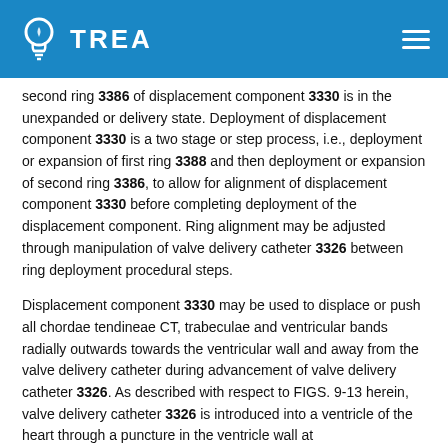TREA
second ring 3386 of displacement component 3330 is in the unexpanded or delivery state. Deployment of displacement component 3330 is a two stage or step process, i.e., deployment or expansion of first ring 3388 and then deployment or expansion of second ring 3386, to allow for alignment of displacement component 3330 before completing deployment of the displacement component. Ring alignment may be adjusted through manipulation of valve delivery catheter 3326 between ring deployment procedural steps.
Displacement component 3330 may be used to displace or push all chordae tendineae CT, trabeculae and ventricular bands radially outwards towards the ventricular wall and away from the valve delivery catheter during advancement of valve delivery catheter 3326. As described with respect to FIGS. 9-13 herein, valve delivery catheter 3326 is introduced into a ventricle of the heart through a puncture in the ventricle wall at